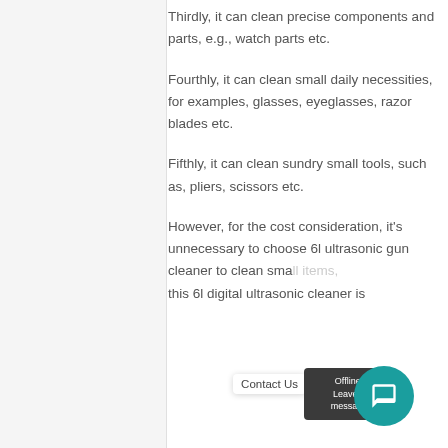Thirdly, it can clean precise components and parts, e.g., watch parts etc.
Fourthly, it can clean small daily necessities, for examples, glasses, eyeglasses, razor blades etc.
Fifthly, it can clean sundry small tools, such as, pliers, scissors etc.
However, for the cost consideration, it's unnecessary to choose 6l ultrasonic gun cleaner to clean small items, this 6l digital ultrasonic cleaner is